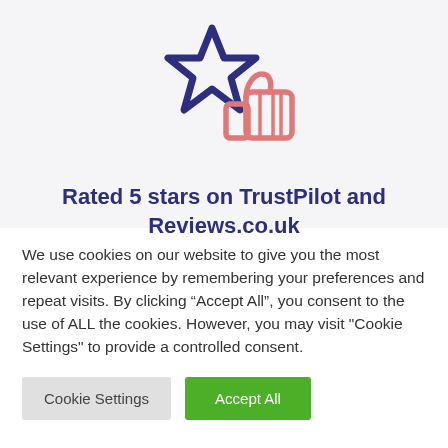[Figure (illustration): A dark navy blue outlined star icon overlapping with a salmon/pink outlined thumbs-up icon]
Rated 5 stars on TrustPilot and Reviews.co.uk
We use cookies on our website to give you the most relevant experience by remembering your preferences and repeat visits. By clicking "Accept All", you consent to the use of ALL the cookies. However, you may visit "Cookie Settings" to provide a controlled consent.